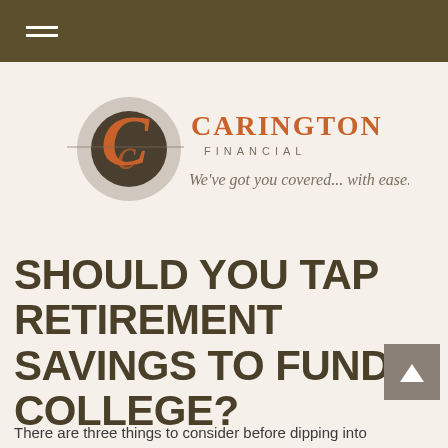[Figure (logo): Carington Financial logo with stylized C monogram in orange and gray, tagline: We've got you covered... with ease.]
SHOULD YOU TAP RETIREMENT SAVINGS TO FUND COLLEGE?
There are three things to consider before dipping into